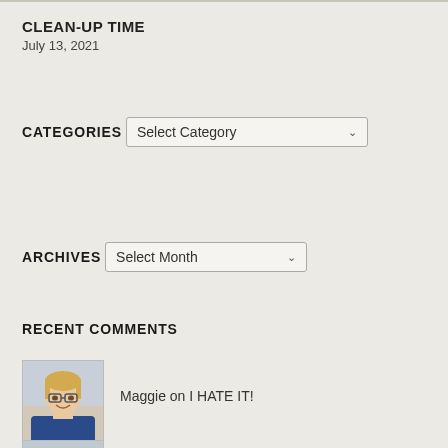CLEAN-UP TIME
July 13, 2021
CATEGORIES
Select Category
ARCHIVES
Select Month
RECENT COMMENTS
Maggie on I HATE IT!
[Figure (photo): Profile photo of Maggie, a woman with blonde hair and glasses, wearing a blue top]